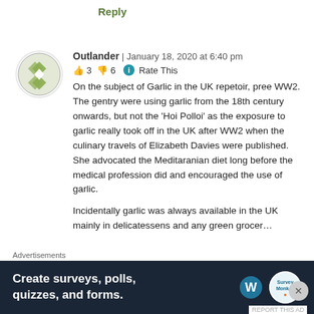Reply
[Figure (illustration): Circular avatar with green and white geometric diamond/lattice pattern]
Outlander | January 18, 2020 at 6:40 pm
👍 3 👎 6 ℹ Rate This
On the subject of Garlic in the UK repetoir, pree WW2. The gentry were using garlic from the 18th century onwards, but not the 'Hoi Polloi' as the exposure to garlic really took off in the UK after WW2 when the culinary travels of Elizabeth Davies were published. She advocated the Meditaranian diet long before the medical profession did and encouraged the use of garlic.
Incidentally garlic was always available in the UK mainly in delicatessens and any green grocer…
Advertisements
[Figure (screenshot): Dark blue advertisement banner: 'Create surveys, polls, quizzes, and forms.' with WordPress and SurveyMonkey logos]